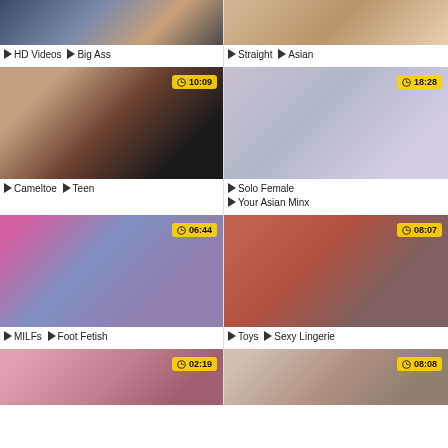[Figure (screenshot): Video thumbnail grid item top-left, partial view]
HD Videos  Big Ass
[Figure (screenshot): Video thumbnail grid item top-right, partial view]
Straight  Asian
[Figure (screenshot): Video thumbnail 10:09]
Cameltoe  Teen
[Figure (screenshot): Video thumbnail 18:28]
Solo Female  Your Asian Minx
[Figure (screenshot): Video thumbnail 06:44]
MILFs  Foot Fetish
[Figure (screenshot): Video thumbnail 08:07]
Toys  Sexy Lingerie
[Figure (screenshot): Video thumbnail 02:19 partial]
[Figure (screenshot): Video thumbnail 08:08 partial]